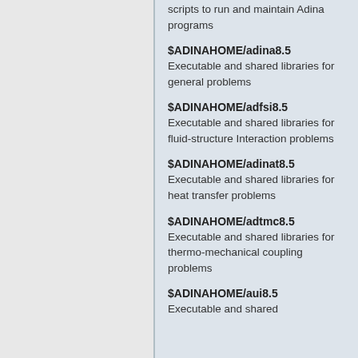scripts to run and maintain Adina programs
$ADINAHOME/adina8.5
Executable and shared libraries for general problems
$ADINAHOME/adfsi8.5
Executable and shared libraries for fluid-structure Interaction problems
$ADINAHOME/adinat8.5
Executable and shared libraries for heat transfer problems
$ADINAHOME/adtmc8.5
Executable and shared libraries for thermo-mechanical coupling problems
$ADINAHOME/aui8.5
Executable and shared